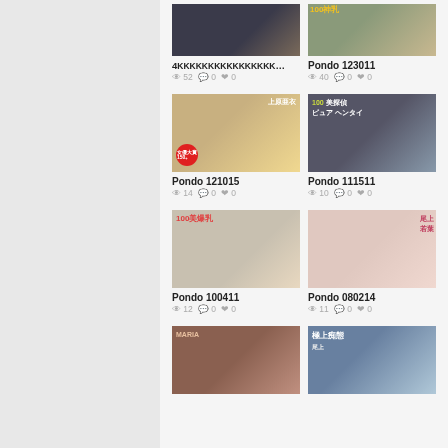[Figure (photo): Thumbnail image - dark bedroom scene]
[Figure (photo): Thumbnail image - Japanese adult content cover with text 100 and Japanese characters]
4KKKKKKKKKKKKKKKKKKKKK...
Pondo 123011
👁 52  💬 0  ♥ 0
👁 40  💬 0  ♥ 0
[Figure (photo): Japanese adult content cover - woman with text 上原亜衣 and 150]
[Figure (photo): Japanese adult content cover - woman with text ピュア ヘンタイ 100]
Pondo 121015
Pondo 111511
👁 14  💬 0  ♥ 0
👁 10  💬 0  ♥ 0
[Figure (photo): Japanese adult content cover - 100美爆乳]
[Figure (photo): Japanese adult content cover - woman, text 尾上若葉]
Pondo 100411
Pondo 080214
👁 12  💬 0  ♥ 0
👁 11  💬 0  ♥ 0
[Figure (photo): Japanese adult content cover - woman, MARIA text]
[Figure (photo): Japanese adult content cover - text 極上痴態, woman, 尾上]